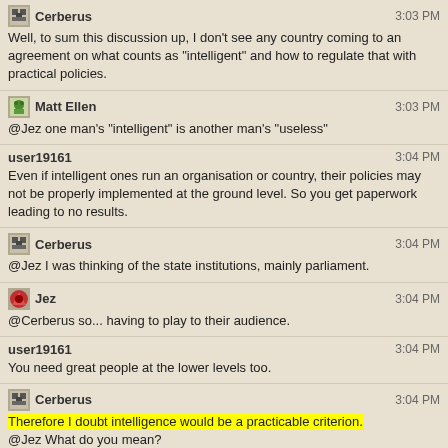Cerberus 3:03 PM
Well, to sum this discussion up, I don't see any country coming to an agreement on what counts as "intelligent" and how to regulate that with practical policies.
Matt Ellen 3:03 PM
@Jez one man's "intelligent" is another man's "useless"
user19161 3:04 PM
Even if intelligent ones run an organisation or country, their policies may not be properly implemented at the ground level. So you get paperwork leading to no results.
Cerberus 3:04 PM
@Jez I was thinking of the state institutions, mainly parliament.
Jez 3:04 PM
@Cerberus so... having to play to their audience.
user19161 3:04 PM
You need great people at the lower levels too.
Cerberus 3:04 PM
Therefore I doubt intelligence would be a practicable criterion.
@Jez What do you mean?
Jez 3:05 PM
in parliament they have to appear to do what their base wants
when their base is something other than the most intelligent, that's stupid stuff
like the war on drugs, and prayer rallies